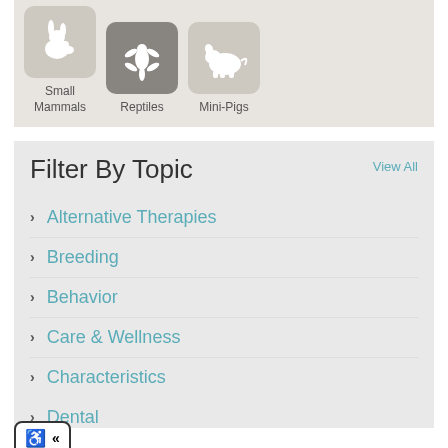[Figure (screenshot): Three animal category icons: Small Mammals (rabbit silhouette, light gray background), Reptiles (gecko silhouette, dark gray background, selected), Mini-Pigs (pig silhouette, light gray background)]
Filter By Topic
View All
Alternative Therapies
Breeding
Behavior
Care & Wellness
Characteristics
Dental